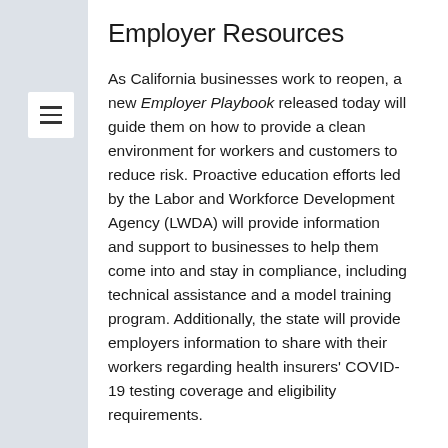Employer Resources
As California businesses work to reopen, a new Employer Playbook released today will guide them on how to provide a clean environment for workers and customers to reduce risk. Proactive education efforts led by the Labor and Workforce Development Agency (LWDA) will provide information and support to businesses to help them come into and stay in compliance, including technical assistance and a model training program. Additionally, the state will provide employers information to share with their workers regarding health insurers' COVID-19 testing coverage and eligibility requirements.
Strategic Enforcement